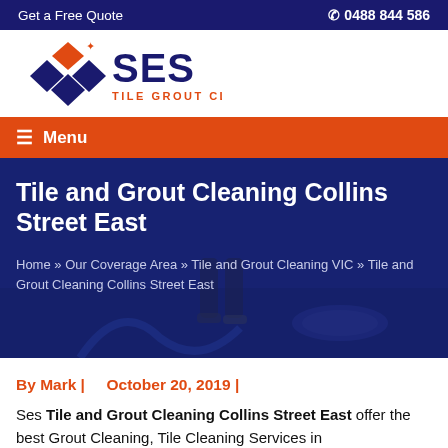Get a Free Quote    ☎ 0488 844 586
[Figure (logo): SES Tile Grout Cleaning logo with diamond/tile graphic in orange and navy blue]
≡ Menu
Tile and Grout Cleaning Collins Street East
Home » Our Coverage Area » Tile and Grout Cleaning VIC » Tile and Grout Cleaning Collins Street East
By Mark |    October 20, 2019 |
Ses Tile and Grout Cleaning Collins Street East offer the best Grout Cleaning, Tile Cleaning Services in